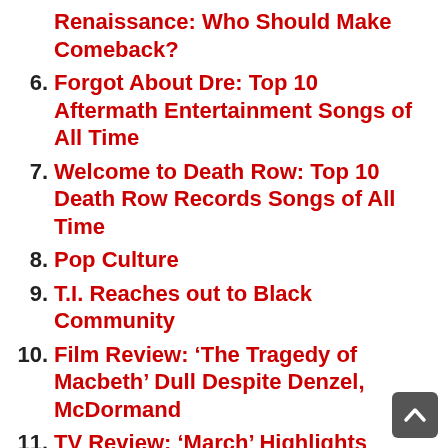Renaissance: Who Should Make Comeback?
6. Forgot About Dre: Top 10 Aftermath Entertainment Songs of All Time
7. Welcome to Death Row: Top 10 Death Row Records Songs of All Time
8. Pop Culture
9. T.I. Reaches out to Black Community
10. Film Review: ‘The Tragedy of Macbeth’ Dull Despite Denzel, McDormand
11. TV Review: ‘March’ Highlights Prairie View A&M HBCU Band